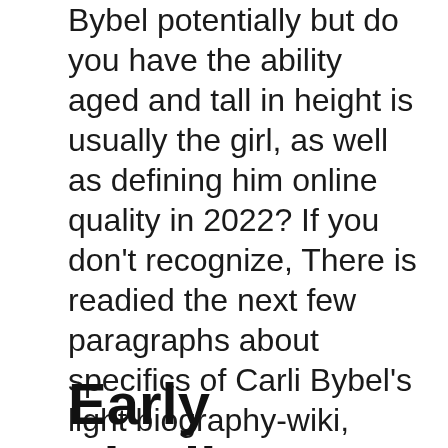Bybel potentially but do you have the ability aged and tall in height is usually the girl, as well as defining him online quality in 2022? If you don't recognize, There is readied the next few paragraphs about specifics of Carli Bybel's light biography-wiki, profession, business life, special everyday living, today's online quality, years, position, obesity, as well as a lot more information. The good news is if you're available, let's start up.
Early Liveliness